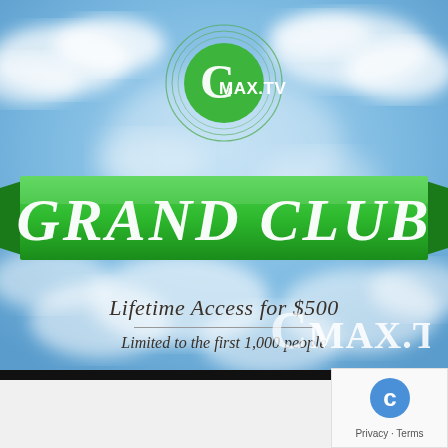[Figure (logo): CMax.TV circular logo with green filled circle and white C letter, surrounded by thin circular ring lines, placed at top center on sky background]
GRAND CLUB
Lifetime Access for $500
Limited to the first 1,000 people
[Figure (logo): CMax.TV logo in large white text at bottom right of sky area]
[Figure (other): reCAPTCHA badge with blue C icon and Privacy - Terms link at bottom right corner]